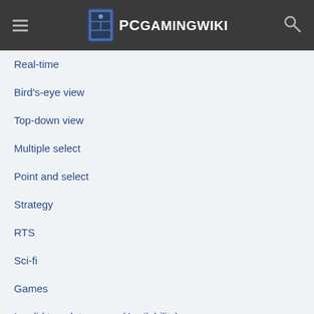PCGamingWiki
Real-time
Bird's-eye view
Top-down view
Multiple select
Point and select
Strategy
RTS
Sci-fi
Games
Invalid template usage (Availability)